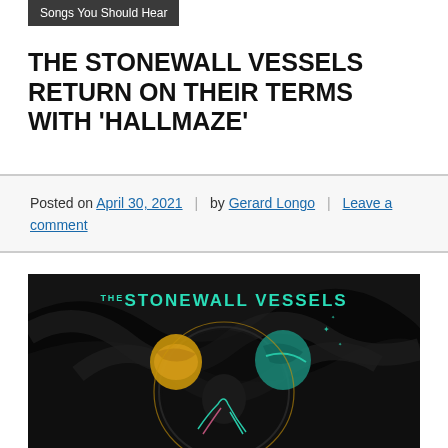Songs You Should Hear
THE STONEWALL VESSELS RETURN ON THEIR TERMS WITH 'HALLMAZE'
Posted on April 30, 2021 | by Gerard Longo | Leave a comment
[Figure (illustration): Album art for The Stonewall Vessels - dark swirling background with a figure holding planets, teal and yellow illustrated art style with the band name at top in teal letters]